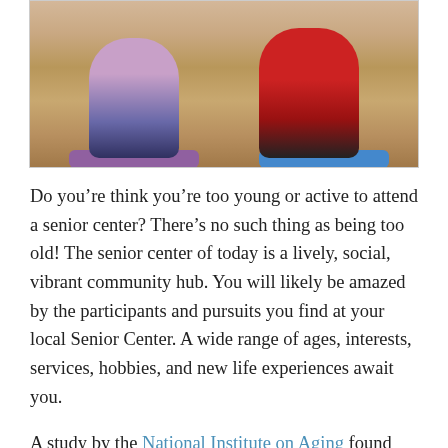[Figure (photo): Seniors seated on yoga mats on a gym floor, viewed from behind. One person wears a floral top with dark pants on a purple mat, another wears a red top on a blue mat.]
Do you're think you're too young or active to attend a senior center? There's no such thing as being too old! The senior center of today is a lively, social, vibrant community hub. You will likely be amazed by the participants and pursuits you find at your local Senior Center. A wide range of ages, interests, services, hobbies, and new life experiences await you.
A study by the National Institute on Aging found that seniors who maintain an active lifestyle-physically, mentally and socially-remain independent longer, feel more contented and fulfilled, and experience an improved quality